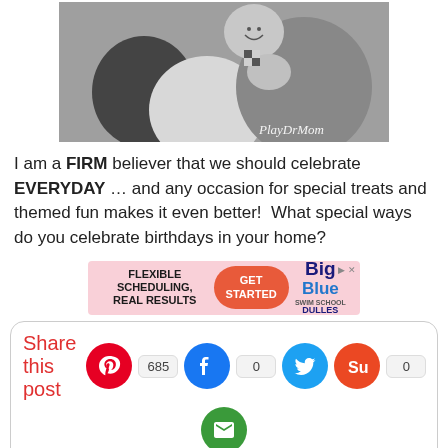[Figure (photo): Black and white photo of a young child smiling among several balloons of different sizes in a bathtub or pool setting. Watermark reads 'PlayDrMom' in the lower right corner.]
I am a FIRM believer that we should celebrate EVERYDAY … and any occasion for special treats and themed fun makes it even better!  What special ways do you celebrate birthdays in your home?
[Figure (infographic): Advertisement banner: 'FLEXIBLE SCHEDULING, REAL RESULTS' with a 'GET STARTED' button and Big Blue Swim School Dulles logo.]
Share this post
[Figure (infographic): Social sharing bar with Pinterest (685), Facebook (0), Twitter, StumbleUpon (0) icons and an email icon below.]
Pin  Latest Posts